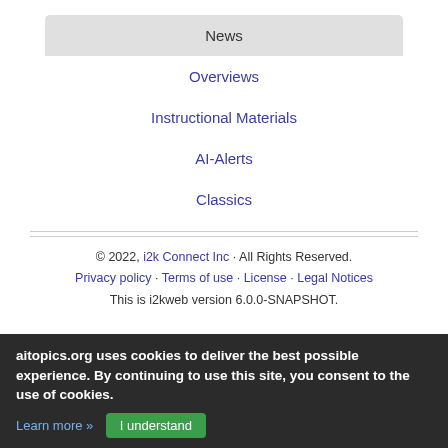| News |
| --- |
| Overviews |
| Instructional Materials |
| AI-Alerts |
| Classics |
© 2022, i2k Connect Inc · All Rights Reserved.
Privacy policy · Terms of use · License · Legal Notices
This is i2kweb version 6.0.0-SNAPSHOT.

Logged in from Ashburn
Site Feedback
aitopics.org uses cookies to deliver the best possible experience. By continuing to use this site, you consent to the use of cookies.
Learn more »  I understand